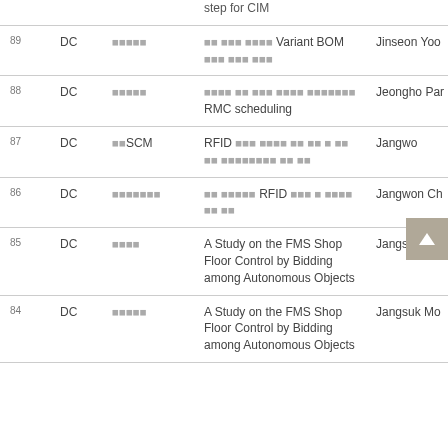| # | Type | Category | Title | Author |
| --- | --- | --- | --- | --- |
| 89 | DC | ■■■■■ | ■■ ■■■ ■■■■ Variant BOM ■■■ ■■■ ■■■ | Jinseon Yoo |
| 88 | DC | ■■■■■ | ■■■■ ■■ ■■■ ■■■■ ■■■■■■■ RMC scheduling | Jeongho Par |
| 87 | DC | ■■SCM | RFID ■■■ ■■■■ ■■ ■■ ■ ■■ ■■ ■■■■■■■■ ■■ ■■ | Jangwo |
| 86 | DC | ■■■■■■■ | ■■ ■■■■■ RFID ■■■ ■ ■■■■ ■■ ■■ | Jangwon Ch |
| 85 | DC | ■■■■ | A Study on the FMS Shop Floor Control by Bidding among Autonomous Objects | Jangsuk Mo |
| 84 | DC | ■■■■■ | A Study on the FMS Shop Floor Control by Bidding among Autonomous Objects | Jangsuk Mo |